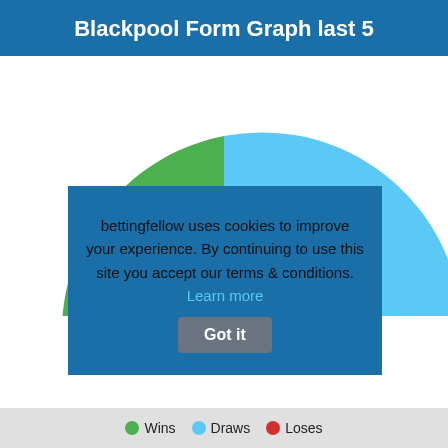Blackpool Form Graph last 5
[Figure (pie-chart): Pie chart partially visible, mostly cyan (Draws) with a green slice (Wins). Cookie overlay covers lower portion.]
bettingfellow uses cookies to improve your experience. By continuing to use this site you accept our terms & conditions. Learn more Got it
Wins   Draws   Loses